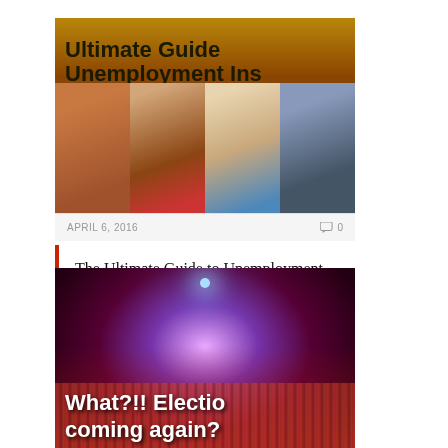[Figure (photo): Thumbnail image for article about unemployment insurance proposals, showing text overlay 'Ultimate Guide Unemployment Insurance Proposals for Singapore' and photos of four men speaking at what appears to be a forum or panel discussion]
APRIL 6, 2016   0
The Ultimate Guide to Unemployment Insurance Proposals for Singapore
[Figure (photo): Thumbnail image showing a stadium crowd at night with spotlight, overlaid with text 'What?!! Elections coming again?']